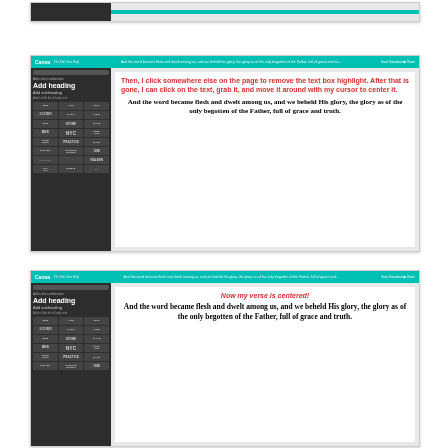[Figure (screenshot): Top strip of a Canva editor screenshot showing toolbar and partial canvas]
[Figure (screenshot): Canva editor screenshot showing instruction text in red: 'Then, I click somewhere else on the page to remove the text box highlight. After that is gone, I can click on the text, grab it, and move it around with my cursor to center it.' followed by bold serif verse text: 'And the word became flesh and dwelt among us, and we beheld His glory, the glory as of the only begotten of the Father, full of grace and truth.']
[Figure (screenshot): Canva editor screenshot showing 'Now my verse is centered!' in red italic, followed by centered bold serif verse: 'And the word became flesh and dwelt among us, and we beheld His glory, the glory as of the only begotten of the Father, full of grace and truth.']